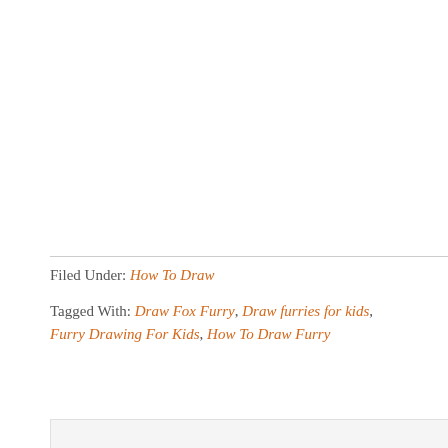Filed Under: How To Draw
Tagged With: Draw Fox Furry, Draw furries for kids, Furry Drawing For Kids, How To Draw Furry